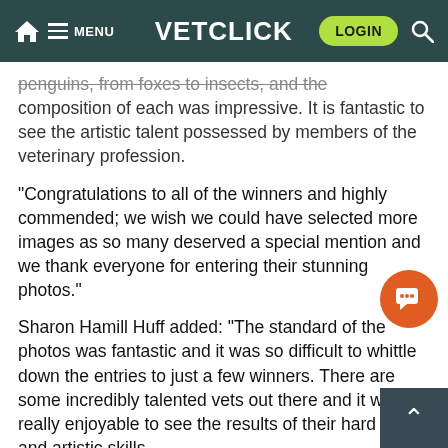VETCLICK — Navigation bar with home, menu, login, search
penguins, from foxes to insects, and the composition of each was impressive. It is fantastic to see the artistic talent possessed by members of the veterinary profession.
“Congratulations to all of the winners and highly commended; we wish we could have selected more images as so many deserved a special mention and we thank everyone for entering their stunning photos.”
Sharon Hamill Huff added: “The standard of the photos was fantastic and it was so difficult to whittle down the entries to just a few winners. There are some incredibly talented vets out there and it was really enjoyable to see the results of their hard work and artistic skills.